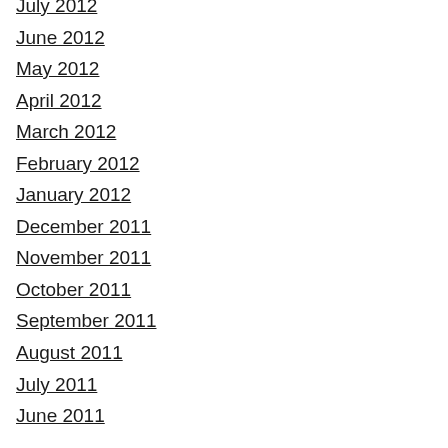July 2012
June 2012
May 2012
April 2012
March 2012
February 2012
January 2012
December 2011
November 2011
October 2011
September 2011
August 2011
July 2011
June 2011